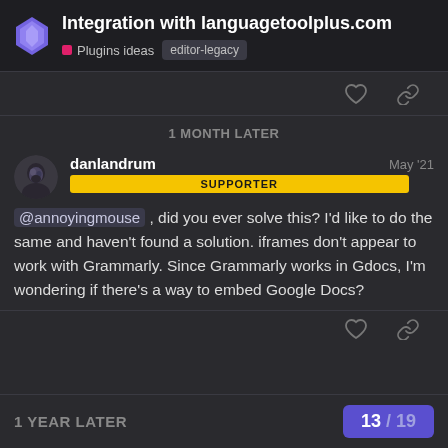Integration with languagetoolplus.com — Plugins ideas | editor-legacy
1 MONTH LATER
danlandrum — May '21 — SUPPORTER
@annoyingmouse , did you ever solve this? I'd like to do the same and haven't found a solution. iframes don't appear to work with Grammarly. Since Grammarly works in Gdocs, I'm wondering if there's a way to embed Google Docs?
1 YEAR LATER — 13 / 19